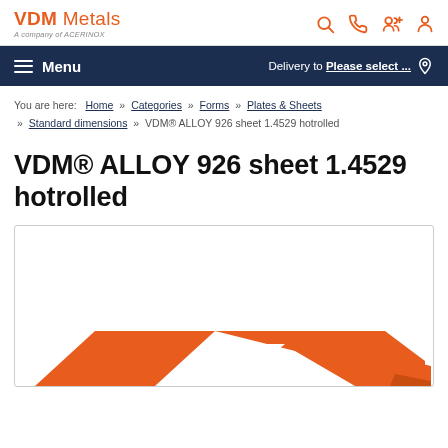VDM Metals — A company of ACERINOX
Menu | Delivery to Please select ...
You are here: Home » Categories » Forms » Plates & Sheets » Standard dimensions » VDM® ALLOY 926 sheet 1.4529 hotrolled
VDM® ALLOY 926 sheet 1.4529 hotrolled
[Figure (logo): VDM Metals orange parallelogram logo graphic partially visible at bottom of product image box]